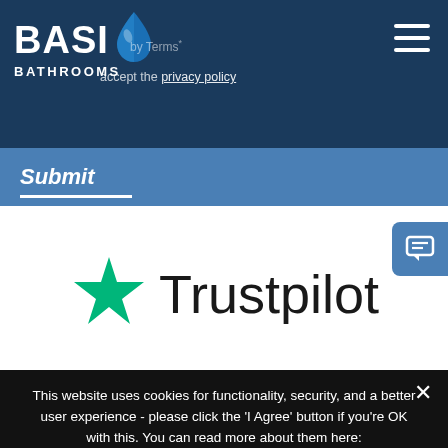BASI BATHROOMS logo header with hamburger menu
by Terms
accept the privacy policy
Submit
[Figure (logo): Trustpilot logo with green star and 'Trustpilot' text in black]
This website uses cookies for functionality, security, and a better user experience - please click the 'I Agree' button if you're OK with this. You can read more about them here:
Privacy Preferences
I Agree